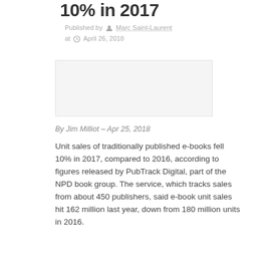10% in 2017
Published by Marc Saint-Laurent at April 26, 2018
[Figure (photo): Blank/placeholder image rectangle with light gray fill and border]
By Jim Milliot – Apr 25, 2018
Unit sales of traditionally published e-books fell 10% in 2017, compared to 2016, according to figures released by PubTrack Digital, part of the NPD book group. The service, which tracks sales from about 450 publishers, said e-book unit sales hit 162 million last year, down from 180 million units in 2016.